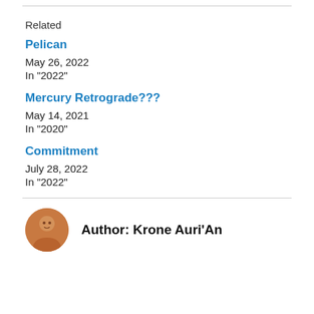Related
Pelican
May 26, 2022
In "2022"
Mercury Retrograde???
May 14, 2021
In "2020"
Commitment
July 28, 2022
In "2022"
Author: Krone Auri'An